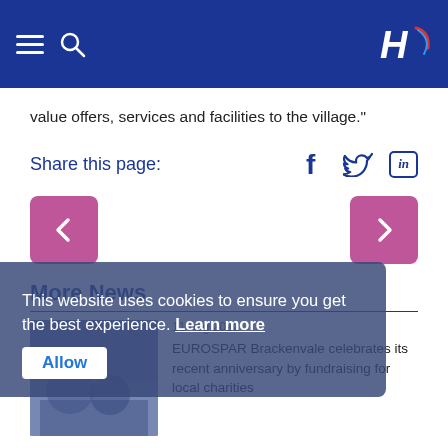Henderson Group website header with navigation icons and logo
value offers, services and facilities to the village."
Share this page:
More News
11 Aug 2022
EUROSPAR Brackenvale celebrates its recent anniversary by fundraising for local charities
This website uses cookies to ensure you get the best experience. Learn more
Allow